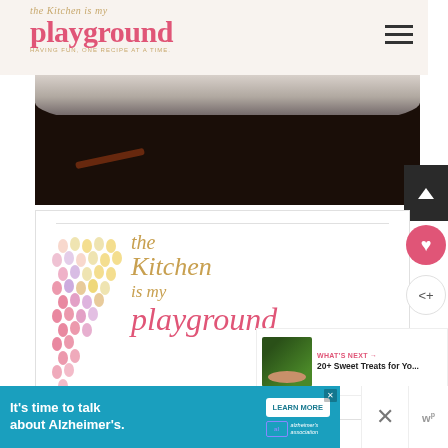the Kitchen is my playground — HAVING FUN, ONE RECIPE AT A TIME.
[Figure (photo): Dark overhead food photo showing a white bowl or dish with dark baking surface and a cinnamon stick on a dark wooden background]
[Figure (illustration): Printable logo graphic: colorful dot pattern on left side with handwritten-style text 'the Kitchen is My playground']
WHAT'S NEXT →
20+ Sweet Treats for Yo...
It's time to talk about Alzheimer's.
LEARN MORE